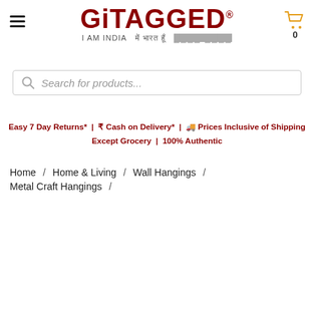GiTAGGED® I AM INDIA में भारत हूँ ████ ████
Search for products...
Easy 7 Day Returns* | ₹ Cash on Delivery* | 🚚 Prices Inclusive of Shipping Except Grocery | 100% Authentic
Home / Home & Living / Wall Hangings / Metal Craft Hangings /